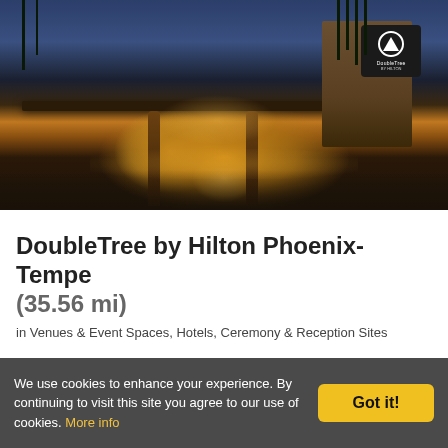[Figure (photo): Exterior night/dusk photograph of the DoubleTree by Hilton hotel in Phoenix-Tempe, showing a illuminated canopy entrance, warm golden lighting, palm trees, and the DoubleTree by Hilton branded sign on the building]
DoubleTree by Hilton Phoenix-Tempe (35.56 mi)
in Venues & Event Spaces, Hotels, Ceremony & Reception Sites
Welcome to the newly renovated DoubleTree by Hilton Hotel Phoenix Tempe, a contemporary hotel in the heart of Tempe with unique, Frank Lloyd Wright-inspired architecture.
We use cookies to enhance your experience. By continuing to visit this site you agree to our use of cookies. More info